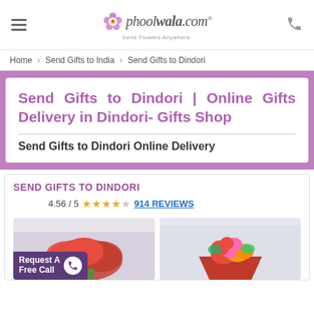phoolwala.com – Send Flowers Anywhere
Home › Send Gifts to India › Send Gifts to Dindori
Send Gifts to Dindori | Online Gifts Delivery in Dindori- Gifts Shop
Send Gifts to Dindori Online Delivery
SEND GIFTS TO DINDORI
4.56 / 5  ★★★★☆  914 REVIEWS
[Figure (photo): Red carnation flower bouquet product image]
[Figure (photo): Colorful roses bouquet in red wrapping product image]
Request A Free Call